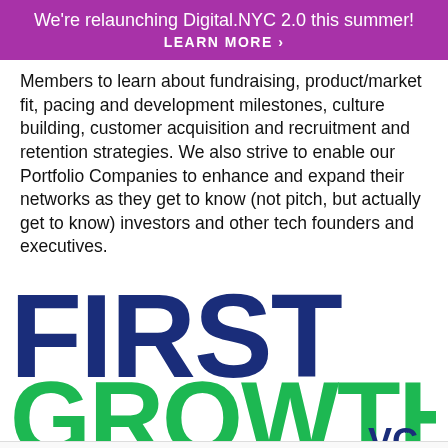We're relaunching Digital.NYC 2.0 this summer! LEARN MORE >
Members to learn about fundraising, product/market fit, pacing and development milestones, culture building, customer acquisition and recruitment and retention strategies. We also strive to enable our Portfolio Companies to enhance and expand their networks as they get to know (not pitch, but actually get to know) investors and other tech founders and executives.
[Figure (logo): First Growth VC logo — the word FIRST in large dark navy blue letters overlapping with the word GROWTH in large green letters beneath it, with VC in smaller navy letters at bottom right.]